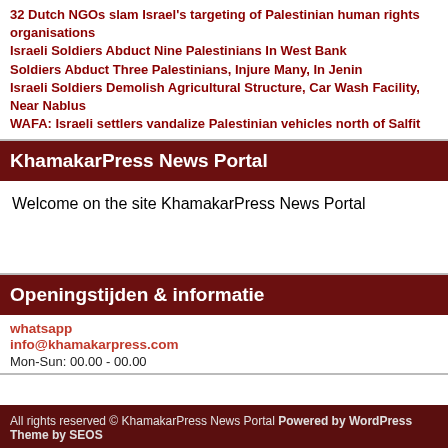32 Dutch NGOs slam Israel's targeting of Palestinian human rights organisations
Israeli Soldiers Abduct Nine Palestinians In West Bank
Soldiers Abduct Three Palestinians, Injure Many, In Jenin
Israeli Soldiers Demolish Agricultural Structure, Car Wash Facility, Near Nablus
WAFA: Israeli settlers vandalize Palestinian vehicles north of Salfit
KhamakarPress News Portal
Welcome on the site KhamakarPress News Portal
Openingstijden & informatie
whatsapp
info@khamakarpress.com
Mon-Sun: 00.00 - 00.00
All rights reserved © KhamakarPress News Portal Powered by WordPress Theme by SEOS